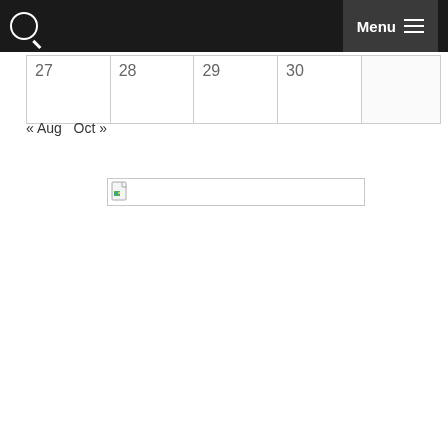Menu
| 27 | 28 | 29 | 30 |  |
« Aug   Oct »
[Figure (other): Broken image placeholder with file icon]